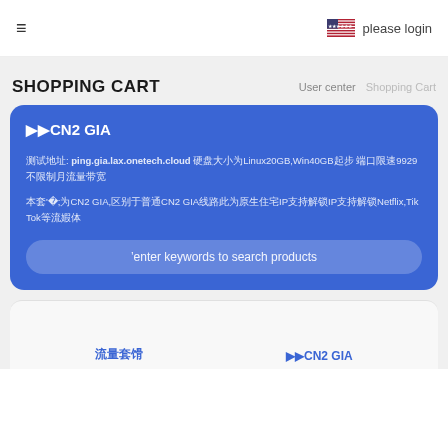≡   🇺🇸  please login
SHOPPING CART
User center   Shopping Cart
▶▶CN2 GIA

测试地址: ping.gia.lax.onetech.cloud 硬盘大小为Linux20GB,Win40GB起步 端口限速9929不限制月流量带宽

本套餐为CN2 GIA,区别于普通CN2 GIA线路此为原生住宅IP支持解锁Netflix,Tik Tok等流媒体
enter keywords to search products
流量套餐    ▶▶CN2 GIA